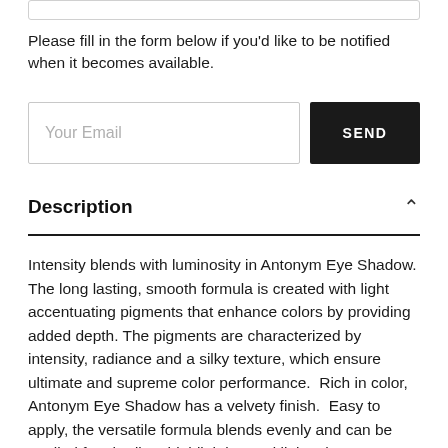Please fill in the form below if you'd like to be notified when it becomes available.
Your Email
SEND
Description
Intensity blends with luminosity in Antonym Eye Shadow. The long lasting, smooth formula is created with light accentuating pigments that enhance colors by providing added depth. The pigments are characterized by intensity, radiance and a silky texture, which ensure ultimate and supreme color performance.  Rich in color, Antonym Eye Shadow has a velvety finish.  Easy to apply, the versatile formula blends evenly and can be applied for shading, highlighting and lining the eye.